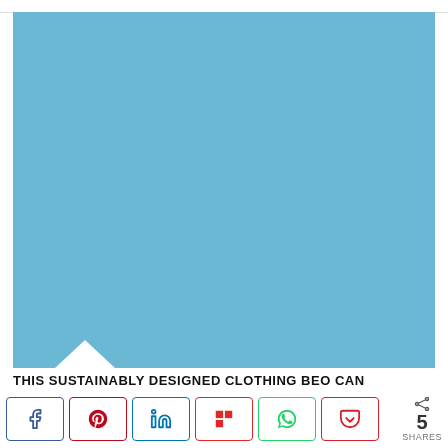[Figure (photo): Large blue/sky-colored rectangular image block with a white downward-pointing triangle chevron at the bottom left corner]
THIS SUSTAINABLY DESIGNED CLOTHING BEO CAN
[Figure (infographic): Social share bar with buttons: Facebook (blue), Pinterest (red), LinkedIn (blue), Flipboard (red), WhatsApp (green), Pocket (red), and share count showing 5 SHARES]